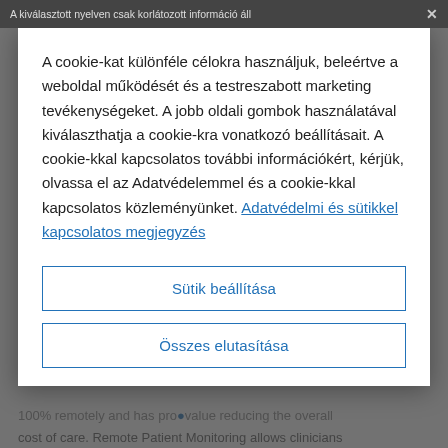A kiválasztott nyelven csak korlátozott információ áll
A cookie-kat különféle célokra használjuk, beleértve a weboldal működését és a testreszabott marketing tevékenységeket. A jobb oldali gombok használatával kiválaszthatja a cookie-kra vonatkozó beállításait. A cookie-kkal kapcsolatos további információkért, kérjük, olvassa el az Adatvédelemmel és a cookie-kkal kapcsolatos közleményünket. Adatvédelmi és sütikkel kapcsolatos megjegyzés
Sütik beállítása
Összes elutasítása
100% remotely and has pro... value reducing the overall cost of care. Remote Patient Monitoring allows clinicians